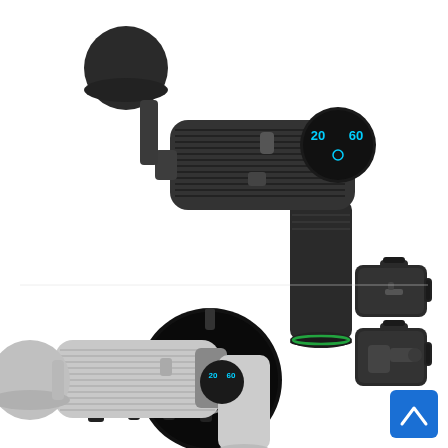[Figure (photo): Product photo showing two massage guns with accessories. Top half: a dark/black massage gun shown with its components — the gun itself with a round digital LED display showing '20' and '60', four interchangeable attachment heads (flat, bullet, fork, ball), a circular close-up of the control panel with plus, power, and minus buttons, and two carrying case images to the right. Bottom half: a white/silver version of the same massage gun partially shown, with a blue scroll-to-top arrow button in the lower right corner.]